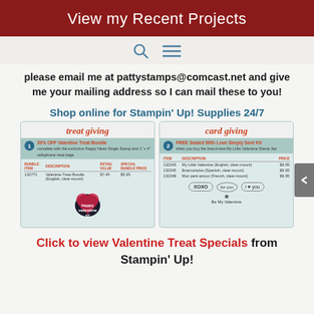View my Recent Projects
[Figure (screenshot): Navigation bar with search and menu icons]
please email me at pattystamps@comcast.net and give me your mailing address so I can mail these to you!
Shop online for Stampin' Up! Supplies 24/7
[Figure (other): Two promotional cards: treat giving (20% OFF Valentine Treat Bundle) and card giving (FREE Sealed With Love Simply Sent Kit). Shows product tables and stamp images.]
Click to view Valentine Treat Specials from Stampin' Up!